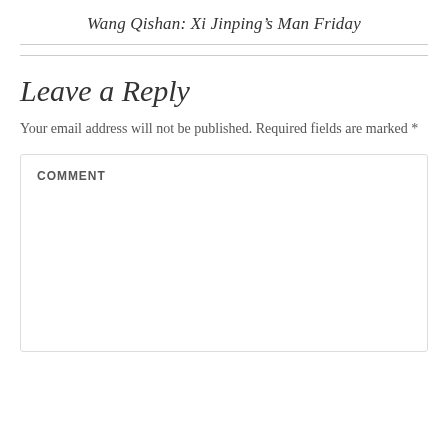Wang Qishan: Xi Jinping's Man Friday
Leave a Reply
Your email address will not be published. Required fields are marked *
COMMENT